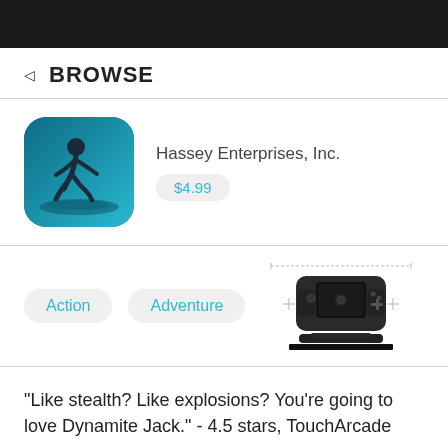◁ BROWSE
[Figure (illustration): App icon showing a running silhouette figure against a teal/blue underwater or action background with rounded square corners]
Hassey Enterprises, Inc.
$4.99
Action
Adventure
[Figure (photo): Game controller hardware shown from front and side angle, a mobile gaming controller device in black]
"Like stealth? Like explosions? You're going to love Dynamite Jack." - 4.5 stars, TouchArcade
"It's one of those rare games that I believe should be...